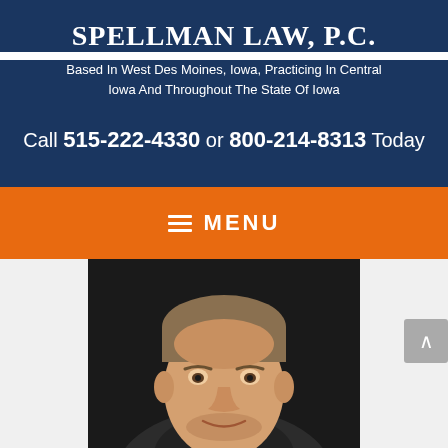SPELLMAN LAW, P.C.
Based In West Des Moines, Iowa, Practicing In Central Iowa And Throughout The State Of Iowa
Call 515-222-4330 or 800-214-8313 Today
≡ MENU
[Figure (photo): Professional headshot of a man with light brown hair, smiling slightly, wearing a suit, photographed against a dark background]
LIVE CHAT ❯ START NOW